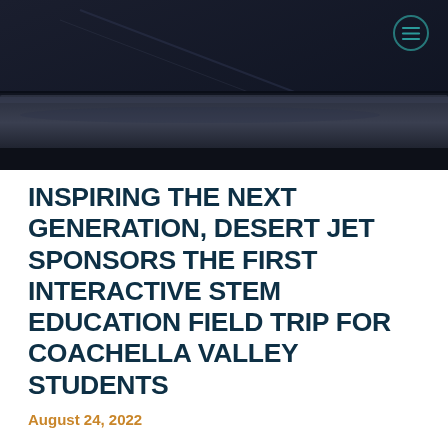[Figure (photo): Dark hero image showing what appears to be the exterior of a private jet aircraft, dark blue/black tones]
INSPIRING THE NEXT GENERATION, DESERT JET SPONSORS THE FIRST INTERACTIVE STEM EDUCATION FIELD TRIP FOR COACHELLA VALLEY STUDENTS
August 24, 2022
Desert Jet, the premier full-service business aviation company based in Greater